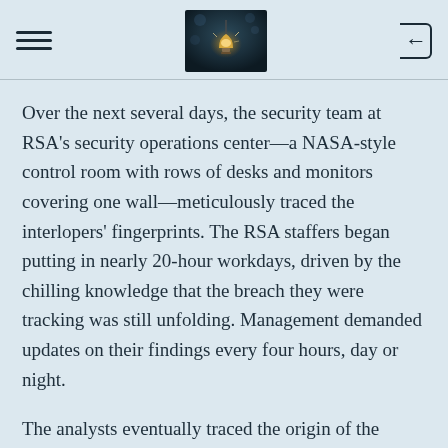[Figure (photo): App header bar with hamburger menu icon on the left, a dark moody photo of a lightbulb in the center, and a back/login button on the right]
Over the next several days, the security team at RSA's security operations center—a NASA-style control room with rows of desks and monitors covering one wall—meticulously traced the interlopers' fingerprints. The RSA staffers began putting in nearly 20-hour workdays, driven by the chilling knowledge that the breach they were tracking was still unfolding. Management demanded updates on their findings every four hours, day or night.
The analysts eventually traced the origin of the breach to a single malicious file that they